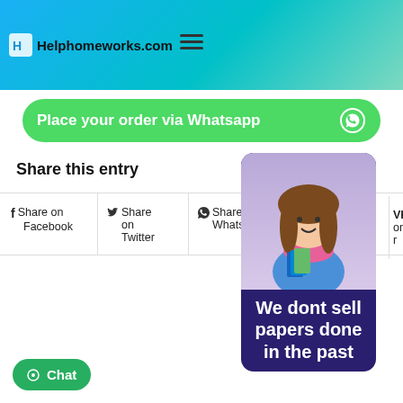Helphomeworks.com
Place your order via Whatsapp
Share this entry
Share on Facebook | Share on Twitter | Share on WhatsApp | Share on Pinterest | Share on VK
[Figure (photo): Student holding books, used in sidebar widget]
We dont sell papers done in the past
Chat